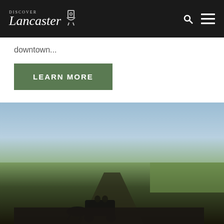Discover Lancaster
downtown...
LEARN MORE
[Figure (photo): Outdoor landscape photo showing sky, green fields, and what appears to be an Amish horse-drawn carriage on a rural Lancaster County road]
This website uses cookies to ensure you get the best experience on our website. Learn more
Got it!